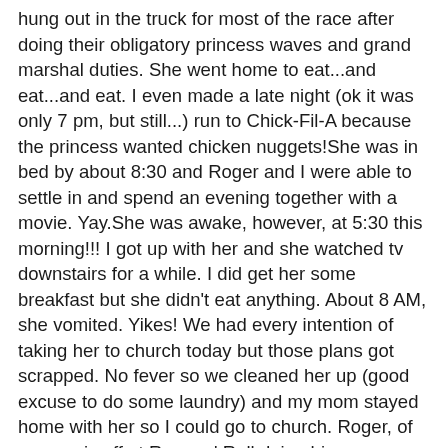hung out in the truck for most of the race after doing their obligatory princess waves and grand marshal duties. She went home to eat...and eat...and eat. I even made a late night (ok it was only 7 pm, but still...) run to Chick-Fil-A because the princess wanted chicken nuggets!She was in bed by about 8:30 and Roger and I were able to settle in and spend an evening together with a movie. Yay.She was awake, however, at 5:30 this morning!!! I got up with her and she watched tv downstairs for a while. I did get her some breakfast but she didn't eat anything. About 8 AM, she vomited. Yikes! We had every intention of taking her to church today but those plans got scrapped. No fever so we cleaned her up (good excuse to do some laundry) and my mom stayed home with her so I could go to church. Roger, of course, is off at Romp n' Roll doing his "thing".She fell asleep again around 9 and slept for most of the morning. Since I got home from church she's been eating some light stuff (cereal and crackers) and being kind of lazy. I'm hoping maybe she just over-did it the last few days.So my latest task today is to decrease the ENTROPY in the house. For those of you unfamiliar with the term, it's a science term referring to chaos in a system. With props to my high school science teacher